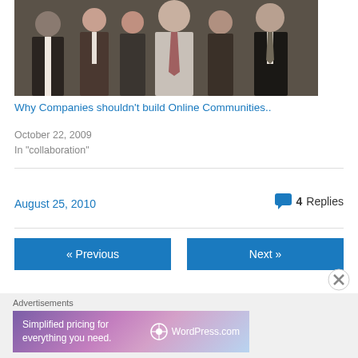[Figure (photo): Group photo of several people in office/business attire, partially cropped at top]
Why Companies shouldn't build Online Communities..
October 22, 2009
In "collaboration"
August 25, 2010
4 Replies
« Previous
Next »
Advertisements
[Figure (screenshot): WordPress.com advertisement: Simplified pricing for everything you need.]